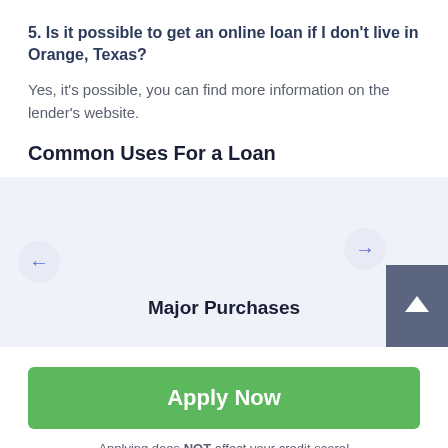5. Is it possible to get an online loan if I don't live in Orange, Texas?
Yes, it's possible, you can find more information on the lender's website.
Common Uses For a Loan
[Figure (infographic): Carousel slider showing loan use cases. Left arrow navigation button on the left, right arrow navigation button on the right, scroll-up button in the bottom-right corner. 'Major Purchases' label shown in the center-bottom area.]
Apply Now
Applying does NOT affect your credit score!
No credit check to apply.